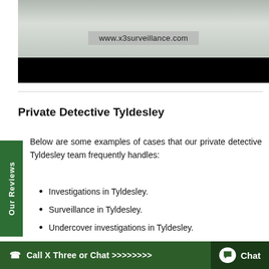[Figure (screenshot): Video thumbnail showing a man in a grey suit standing in an office corridor, with a watermark overlay reading www.x3surveillance.com and a black bar at the bottom.]
Private Detective Tyldesley
Below are some examples of cases that our private detective Tyldesley team frequently handles:
Investigations in Tyldesley.
Surveillance in Tyldesley.
Undercover investigations in Tyldesley.
Cheating partners in Tyldesley.
Call X Three or Chat >>>>>>>> Chat